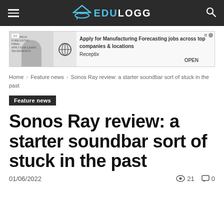EDULOGG
[Figure (infographic): Advertisement banner: Apply for Manufacturing Forecasting jobs across top companies & locations. Receptix. OPEN button.]
Home › Feature news › Sonos Ray review: a starter soundbar sort of stuck in the past
Feature news
Sonos Ray review: a starter soundbar sort of stuck in the past
01/06/2022   👁 21   💬 0